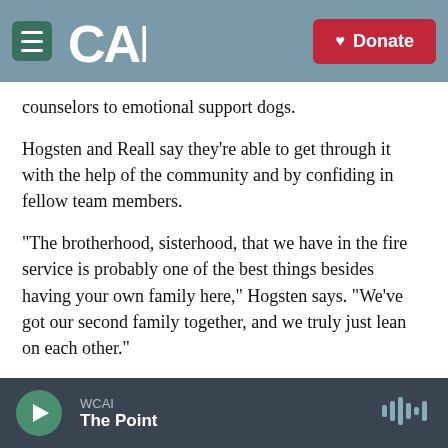CAI | Donate
counselors to emotional support dogs.
Hogsten and Reall say they're able to get through it with the help of the community and by confiding in fellow team members.
"The brotherhood, sisterhood, that we have in the fire service is probably one of the best things besides having your own family here," Hogsten says. "We've got our second family together, and we truly just lean on each other."
The trauma of what's happening in Surfside has been overwhelming even for those not physically
WCAI
The Point